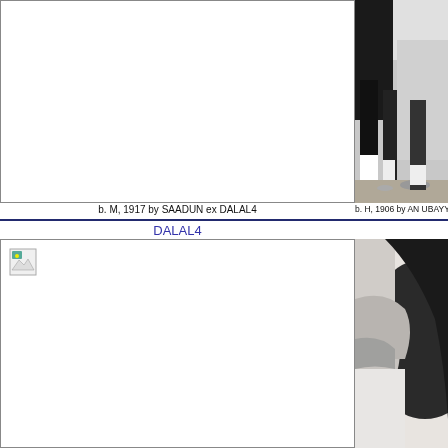[Figure (photo): Black and white photograph of horse legs/hooves on ground, partially visible]
b. H, 1906 by AN UBAYY.
b. M, 1917 by SAADUN ex DALAL4
DALAL4
[Figure (photo): Black and white photograph showing close-up of horse body/haunches]
[Figure (photo): Blank/missing image placeholder with broken image icon]